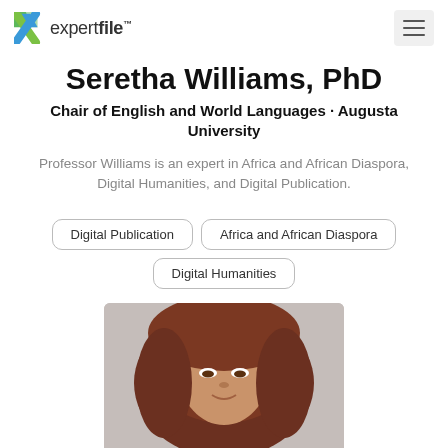expertfile
Seretha Williams, PhD
Chair of English and World Languages · Augusta University
Professor Williams is an expert in Africa and African Diaspora, Digital Humanities, and Digital Publication.
Digital Publication
Africa and African Diaspora
Digital Humanities
[Figure (photo): Portrait photo of Seretha Williams, a person with long dark reddish-brown hair, cropped at shoulders, light background.]